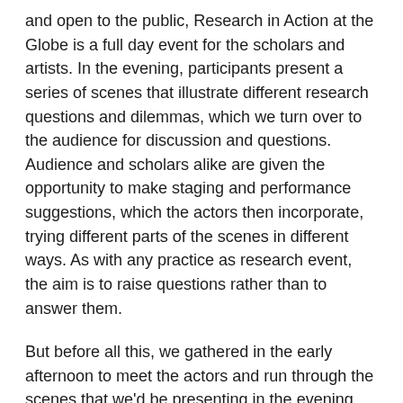and open to the public, Research in Action at the Globe is a full day event for the scholars and artists. In the evening, participants present a series of scenes that illustrate different research questions and dilemmas, which we turn over to the audience for discussion and questions. Audience and scholars alike are given the opportunity to make staging and performance suggestions, which the actors then incorporate, trying different parts of the scenes in different ways. As with any practice as research event, the aim is to raise questions rather than to answer them.
But before all this, we gathered in the early afternoon to meet the actors and run through the scenes that we'd be presenting in the evening, establishing some basic staging and highlighting some of the questions about gendered embodiments of onstage rage that we'd probe more deeply during the public workshop.
The first scene, from The Noble Spanish Soldier, raised a variety